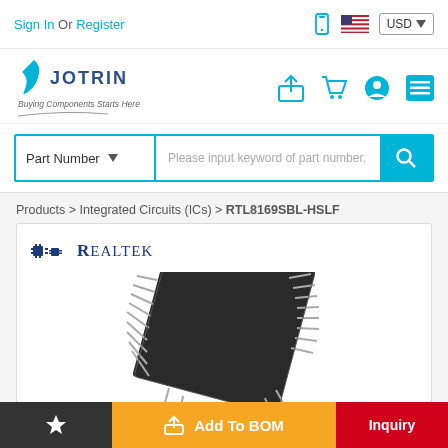Sign In Or Register | USD
[Figure (logo): Jotrin Electronics logo with feather/quill icon and tagline 'Buying Components Starts Here']
Part Number | Please input keyword of part number.
Products > Integrated Circuits (ICs) > RTL8169SBL-HSLF
[Figure (logo): Realtek logo]
[Figure (photo): IC chip photograph showing a square QFP integrated circuit component]
Add To BOM
Inquiry